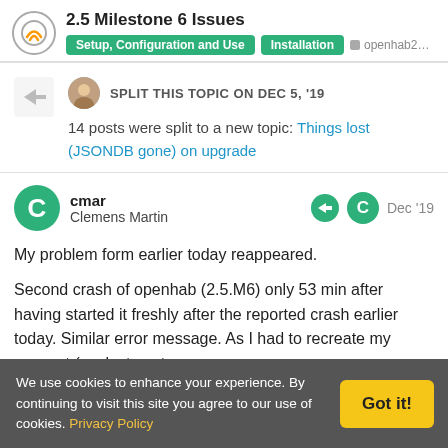2.5 Milestone 6 Issues | Setup, Configuration and Use | Installation | openhab2...
SPLIT THIS TOPIC ON DEC 5, '19
14 posts were split to a new topic: Things lost (JSONDB gone) on upgrade
cmar
Clemens Martin
Dec '19
My problem form earlier today reappeared.

Second crash of openhab (2.5.M6) only 53 min after having started it freshly after the reported crash earlier today. Similar error message. As I had to recreate my account (my last posts
We use cookies to enhance your experience. By continuing to visit this site you agree to our use of cookies. Privacy Policy